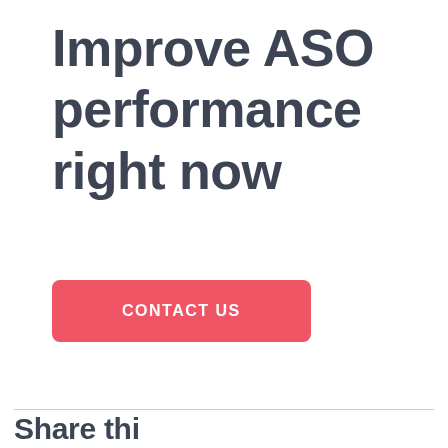Improve ASO performance right now
CONTACT US
Share thi...